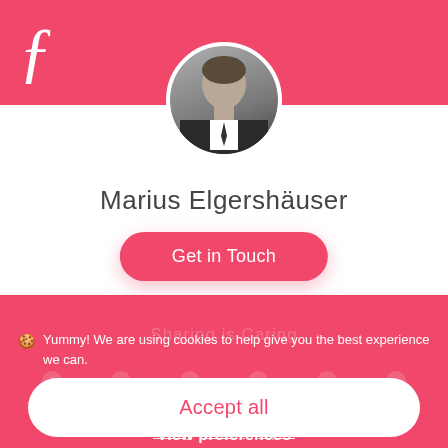[Figure (logo): White script letter logo on pink/red background, top left]
[Figure (photo): Circular avatar photo of a man in suit (Marius Elgershäuser) centered at top]
Marius Elgershäuser
Get in Touch
Sharing is Caring
🍪 Yummy! We are using cookies to help give you the best experience we can.
Accept all
View preferences
Privacy  Privacy  Imprint